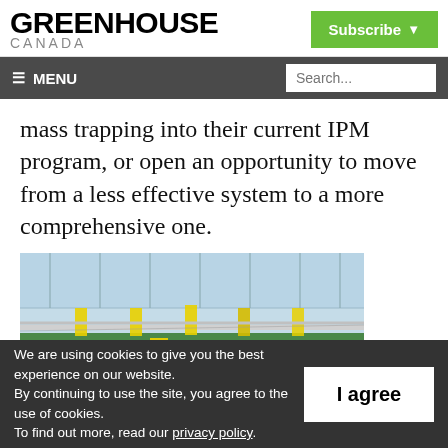GREENHOUSE CANADA
mass trapping into their current IPM program, or open an opportunity to move from a less effective system to a more comprehensive one.
[Figure (photo): Interior of a greenhouse with rows of plants and yellow sticky traps on poles. Glass roof structure visible above.]
We are using cookies to give you the best experience on our website. By continuing to use the site, you agree to the use of cookies. To find out more, read our privacy policy.